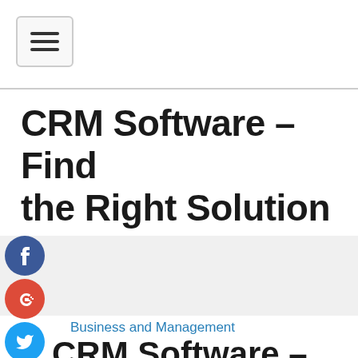[Figure (other): Hamburger menu icon button with three horizontal lines inside a rounded rectangle border]
CRM Software – Find the Right Solution
[Figure (other): Social sharing sidebar icons: Facebook (blue circle with f), Google+ (red circle with g+), Twitter (blue circle with bird), Add/Plus (dark blue circle with +)]
Business and Management
CRM Software – Find the Right